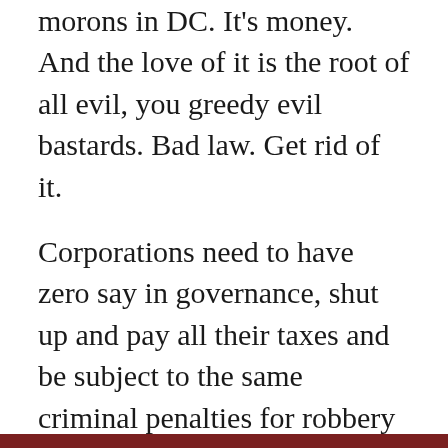morons in DC. It's money. And the love of it is the root of all evil, you greedy evil bastards. Bad law. Get rid of it.
Corporations need to have zero say in governance, shut up and pay all their taxes and be subject to the same criminal penalties for robbery and murder even though they do their killing and thieving with pens instead of swords.